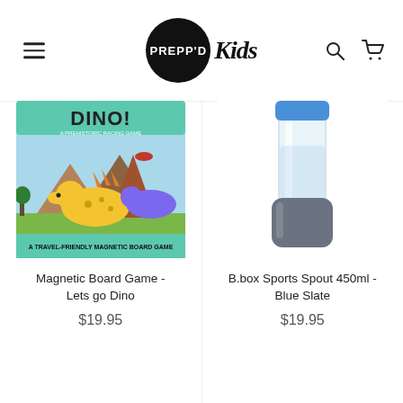[Figure (logo): Prepp'd Kids logo — black circle with 'PREPP'D' text inside, followed by 'Kids' in cursive/script. Hamburger menu icon on left, search and cart icons on right.]
[Figure (photo): Magnetic Board Game - Lets go Dino product image showing colorful dinosaur magnetic board game box.]
Magnetic Board Game - Lets go Dino
$19.95
[Figure (photo): B.box Sports Spout 450ml - Blue Slate product image showing a clear water bottle with dark grey/slate silicone sleeve and blue lid.]
B.box Sports Spout 450ml - Blue Slate
$19.95